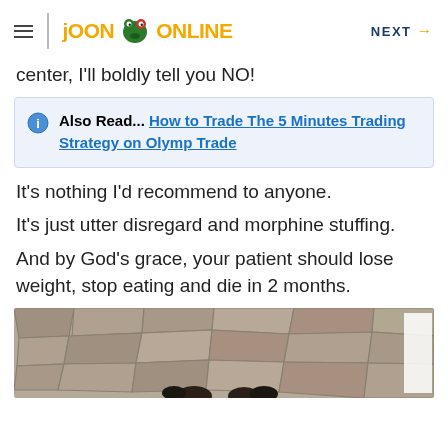JOON ONLINE | NEXT →
center, I'll boldly tell you NO!
Also Read... How to Trade The 5 Minutes Trading Strategy on Olymp Trade
It's nothing I'd recommend to anyone.
It's just utter disregard and morphine stuffing.
And by God's grace, your patient should lose weight, stop eating and die in 2 months.
[Figure (photo): Photo of people in front of a stone wall background]